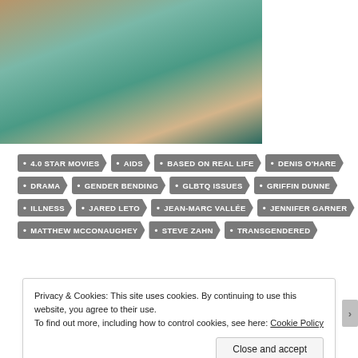[Figure (photo): Photo of a woman in a car, reaching out through the window, wearing a white shirt]
• 4.0 STAR MOVIES
• AIDS
• BASED ON REAL LIFE
• DENIS O'HARE
• DRAMA
• GENDER BENDING
• GLBTQ ISSUES
• GRIFFIN DUNNE
• ILLNESS
• JARED LETO
• JEAN-MARC VALLÉE
• JENNIFER GARNER
• MATTHEW MCCONAUGHEY
• STEVE ZAHN
• TRANSGENDERED
Privacy & Cookies: This site uses cookies. By continuing to use this website, you agree to their use. To find out more, including how to control cookies, see here: Cookie Policy
Close and accept